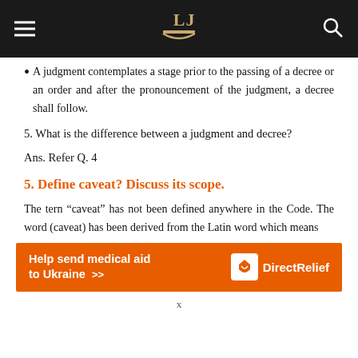LIJ [logo]
A judgment contemplates a stage prior to the passing of a decree or an order and after the pronouncement of the judgment, a decree shall follow.
5. What is the difference between a judgment and decree?
Ans. Refer Q. 4
5. Define caveat? Discuss its scope.
The tern “caveat” has not been defined anywhere in the Code. The word (caveat) has been derived from the Latin word which means
[Figure (other): Advertisement banner: Help send medical aid to Ukraine >> Direct Relief logo]
x